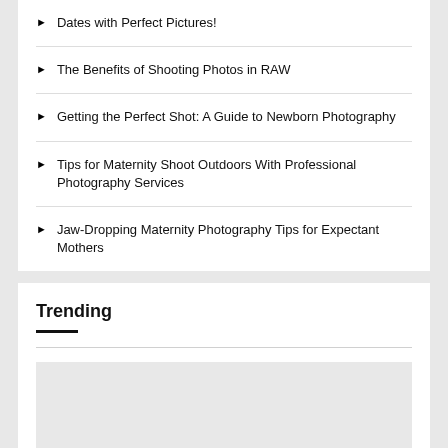Dates with Perfect Pictures!
The Benefits of Shooting Photos in RAW
Getting the Perfect Shot: A Guide to Newborn Photography
Tips for Maternity Shoot Outdoors With Professional Photography Services
Jaw-Dropping Maternity Photography Tips for Expectant Mothers
Trending
[Figure (photo): Trending image placeholder]